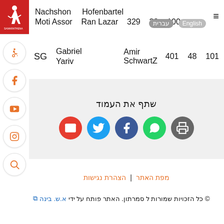[Figure (logo): Samarathena logo on red background with white figure]
Nachshon   Hofenbartel
Moti Assor   Ran Lazar   329   28   100
עברית | English
SG   Gabriel Yariv   Amir SchwartZ   401   48   101
שתף את העמוד
[Figure (infographic): Share buttons: email (red), twitter (blue), facebook (dark blue), whatsapp (green), print (grey)]
מפת האתר | הצהרת נגישות
© כל הזכויות שמורות ל סמרתון. האתר פותח על ידי א.ש. בינה